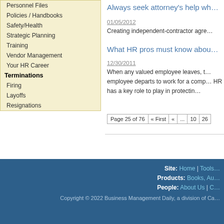Personnel Files
Policies / Handbooks
Safety/Health
Strategic Planning
Training
Vendor Management
Your HR Career
Terminations
Firing
Layoffs
Resignations
Always seek attorney's help wh…
01/05/2012
Creating independent-contractor agre…
What HR pros must know abou…
12/30/2011
When any valued employee leaves, the situation worsens when that employee departs to work for a comp… HR has a key role to play in protectin…
Page 25 of 76  « First  «  ...  10  26
Site: Home | Tools…  Products: Books, Au…  People: About Us | C…  Copyright © 2022 Business Management Daily, a division of Ca…